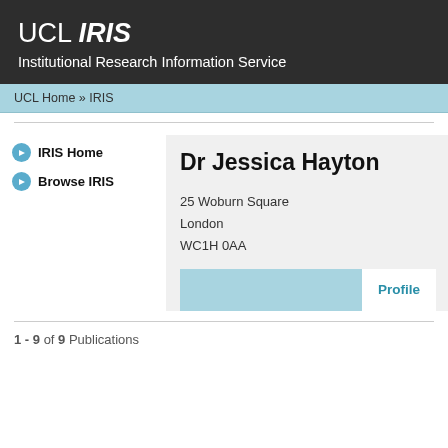UCL IRIS
Institutional Research Information Service
UCL Home » IRIS
IRIS Home
Browse IRIS
Dr Jessica Hayton
25 Woburn Square
London
WC1H 0AA
Profile
1 - 9 of 9 Publications